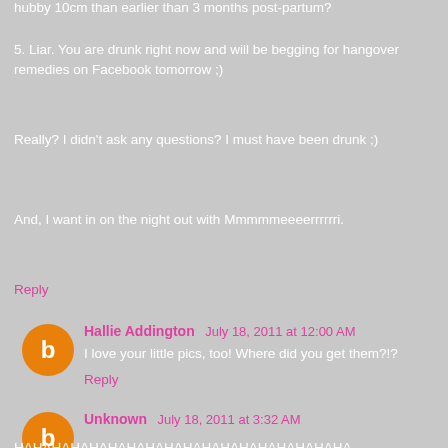hubby 10cm than earlier than 3 months post-partum?
5. Liar. You are drunk right now and will be begging for hangover remedies on Facebook tomorrow ;)
Really? I didn't ask any questions? I must have been drunk ;)
And, I want in on the night out with Mmmmmeeeerrrrrri.
Reply
Hallie Addington July 18, 2011 at 12:00 AM
I love your little pics, too! Where did you get them?!?
Reply
Unknown July 18, 2011 at 3:32 AM
HAHAHAHAHAHAHAHAHAHAHAHAHAHAHAHAHAHA